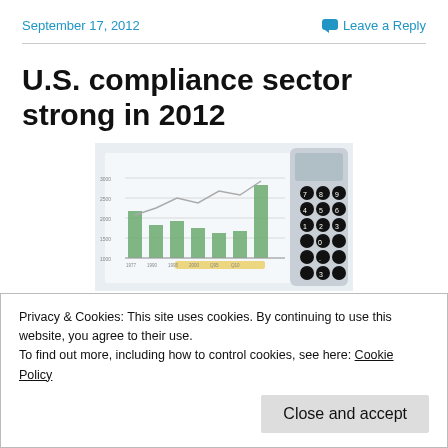September 17, 2012
Leave a Reply
U.S. compliance sector strong in 2012
[Figure (photo): A bar chart and line chart on paper next to a calculator, illustrating financial/compliance data for 2012]
Privacy & Cookies: This site uses cookies. By continuing to use this website, you agree to their use.
To find out more, including how to control cookies, see here: Cookie Policy
2012 (Photo credit: S_falkow)